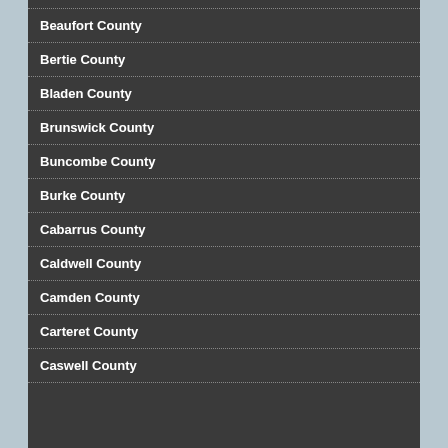Beaufort County
Bertie County
Bladen County
Brunswick County
Buncombe County
Burke County
Cabarrus County
Caldwell County
Camden County
Carteret County
Caswell County